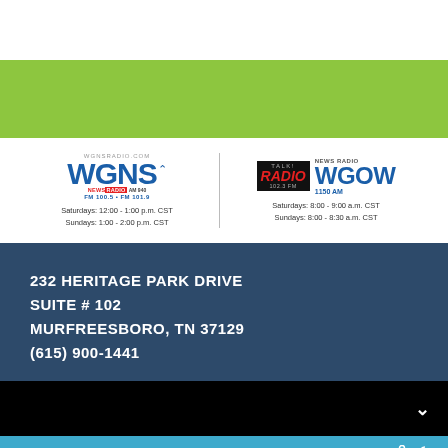[Figure (logo): Green decorative bar at top of page]
[Figure (logo): WGNS News Radio logo - FM 100.5 FM 101.9, and TALK! Radio WGOW News Radio 1150 AM 102.3 FM logos side by side with broadcast times]
Saturdays: 12:00 - 1:00 p.m. CST
Sundays: 1:00 - 2:00 p.m. CST
Saturdays: 8:00 - 9:00 a.m. CST
Sundays: 8:00 - 8:30 a.m. CST
232 HERITAGE PARK DRIVE
SUITE # 102
MURFREESBORO, TN 37129
(615) 900-1441
EPISODE 24